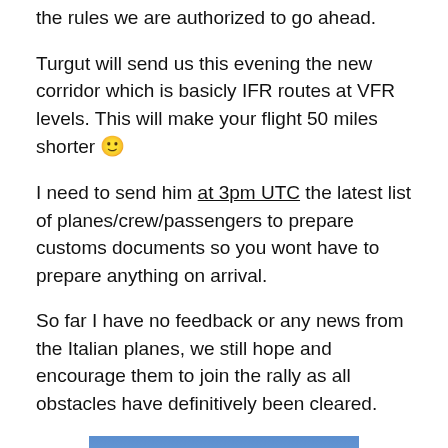the rules we are authorized to go ahead.
Turgut will send us this evening the new corridor which is basicly IFR routes at VFR levels. This will make your flight 50 miles shorter 🙂
I need to send him at 3pm UTC the latest list of planes/crew/passengers to prepare customs documents so you wont have to prepare anything on arrival.
So far I have no feedback or any news from the Italian planes, we still hope and encourage them to join the rally as all obstacles have definitively been cleared.
[Figure (photo): Photo of an aircraft (orange/pink coloring) against a blue sky, partially cropped at the bottom of the page.]